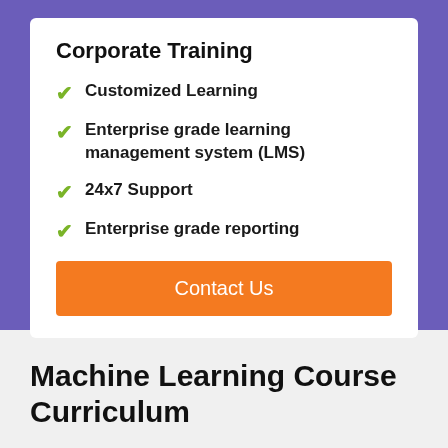Corporate Training
Customized Learning
Enterprise grade learning management system (LMS)
24x7 Support
Enterprise grade reporting
Contact Us
Machine Learning Course Curriculum